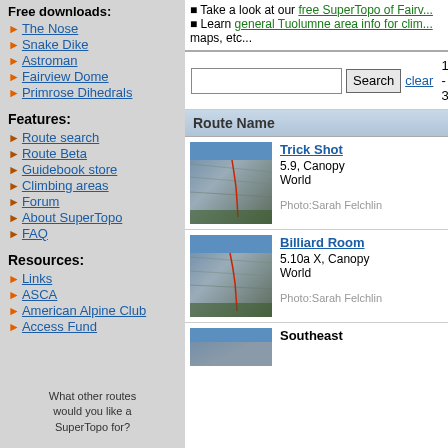Free downloads: The Nose, Snake Dike, Astroman, Fairview Dome, Primrose Dihedrals
Features:
Route search
Route Beta
Guidebook store
Climbing areas
Forum
About SuperTopo
FAQ
Resources:
Links
ASCA
American Alpine Club
Access Fund
What other routes would you like a SuperTopo for?
Take a look at our free SuperTopo of Fairview... Learn general Tuolumne area info for clim... maps, etc...
16 - 30
Route Name
Trick Shot
5.9, Canopy World
Photo:Sarah Felchlin
[Figure (photo): Rock face photo with red climbing route line marked - Trick Shot route]
Billiard Room
5.10a X, Canopy World
Photo:Sarah Felchlin
[Figure (photo): Rock face photo with red climbing route line marked - Billiard Room route]
Southeast